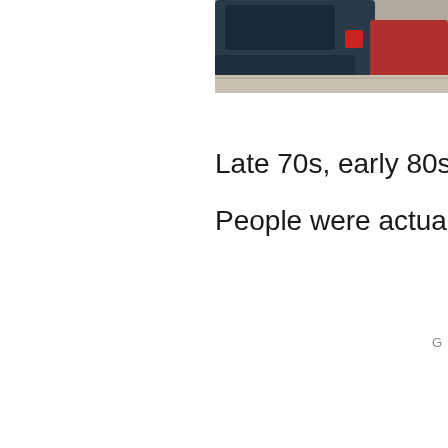[Figure (photo): Partial view of the rear of a dark blue car parked on a sidewalk or street, with a red car visible beside it. Only the upper right portion of the image is visible, cropped at the top-right corner of the page.]
Late 70s, early 80s, I think.
People were actually proud o
G